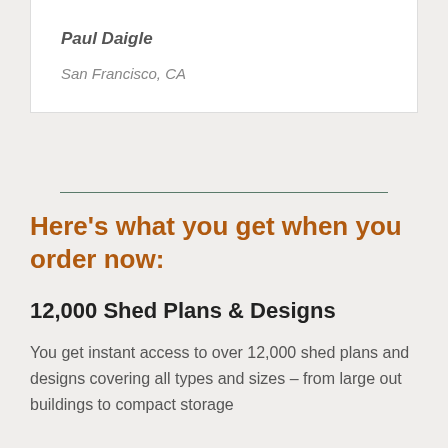Paul Daigle
San Francisco, CA
Here's what you get when you order now:
12,000 Shed Plans & Designs
You get instant access to over 12,000 shed plans and designs covering all types and sizes – from large out buildings to compact storage